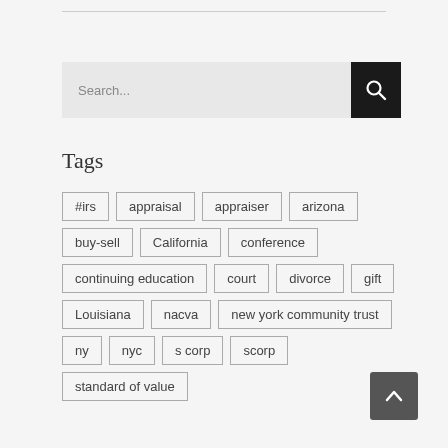[Figure (other): Search bar with text input and search button]
Tags
#irs
appraisal
appraiser
arizona
buy-sell
California
conference
continuing education
court
divorce
gift
Louisiana
nacva
new york community trust
ny
nyc
s corp
scorp
standard of value